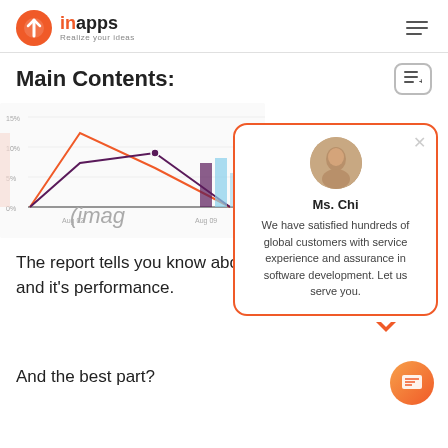inapps Realize your ideas
Main Contents:
[Figure (screenshot): Line chart showing email campaign open rate over time, with orange and purple lines peaking around Aug 02 and descending by Aug 09. Y-axis shows percentages (0%, 5%, 10%, 15%). Overlaid with chat popup.]
(image)
The report tells you know about an email campaign and it's performance.
And the best part?